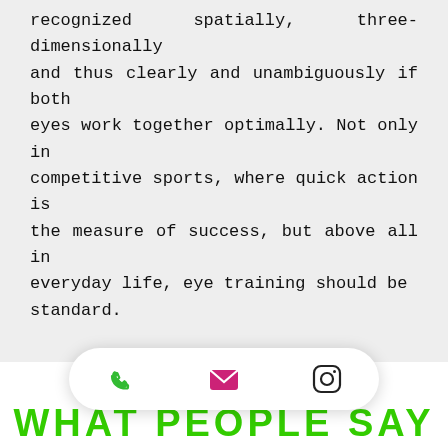recognized spatially, three-dimensionally and thus clearly and unambiguously if both eyes work together optimally. Not only in competitive sports, where quick action is the measure of success, but above all in everyday life, eye training should be standard.
WHAT PEOPLE SAY
Tim kopinski, University of illinois number 2 singles on the tennis team and ATP points in singles
"Each day was slightly different and very specific. We worked quite a bit on reaction time  ...ss of mine. ...g and ...